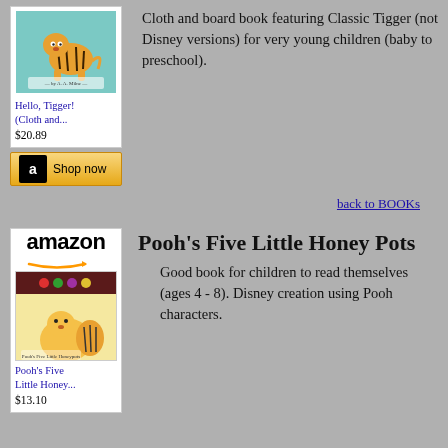[Figure (photo): Hello Tigger book cover - teal background with Tigger illustration]
Hello, Tigger! (Cloth and...
$20.89
[Figure (logo): Amazon Shop now button]
Cloth and board book featuring Classic Tigger (not Disney versions) for very young children (baby to preschool).
back to BOOKs
[Figure (logo): Amazon logo with arrow]
[Figure (photo): Pooh's Five Little Honey Pots book cover - Disney Pooh characters]
Pooh's Five Little Honey Pots
Good book for children to read themselves (ages 4 - 8). Disney creation using Pooh characters.
Pooh's Five Little Honey...
$13.10